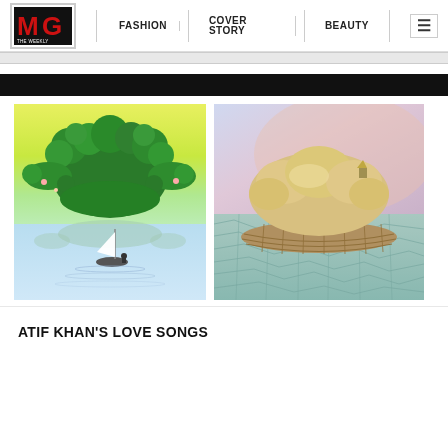MG THE WEEKLY | FASHION | COVER STORY | BEAUTY
[Figure (illustration): Left artwork: fractal-shaped green island with a white sailboat and figure on calm blue water, yellow-green sky]
[Figure (illustration): Right artwork: large fluffy golden bread/cloud resting in a woven mosaic boat on a teal crackle-pattern sea, pastel pink and blue sky]
ATIF KHAN'S LOVE SONGS